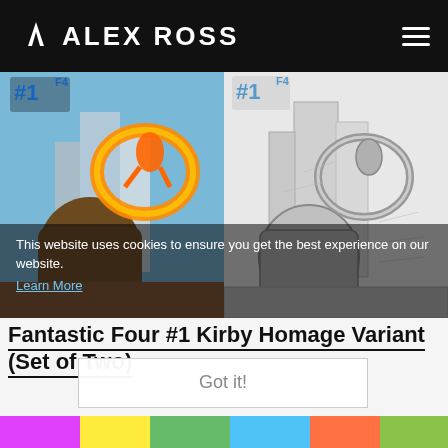ALEX ROSS
[Figure (photo): Two comic book cover images side by side: left is a color version of Fantastic Four #1 Kirby Homage Variant featuring the Human Torch and The Thing in a cityscape; right is a pencil/sketch black and white version of the same cover]
This website uses cookies to ensure you get the best experience on our website.
Learn More
Fantastic Four #1 Kirby Homage Variant (Set of Two)
Got it!
[Figure (photo): Colorful bottom strip preview of another artwork]